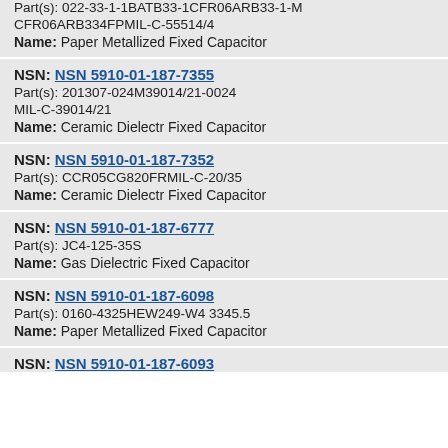Part(s): 022-33-1-1BATB33-1CFR06ARB33-1-M CFR06ARB334FPMIL-C-55514/4
Name: Paper Metallized Fixed Capacitor
NSN: NSN 5910-01-187-7355
Part(s): 201307-024M39014/21-0024
MIL-C-39014/21
Name: Ceramic Dielectr Fixed Capacitor
NSN: NSN 5910-01-187-7352
Part(s): CCR05CG820FRMIL-C-20/35
Name: Ceramic Dielectr Fixed Capacitor
NSN: NSN 5910-01-187-6777
Part(s): JC4-125-35S
Name: Gas Dielectric Fixed Capacitor
NSN: NSN 5910-01-187-6098
Part(s): 0160-4325HEW249-W4 3345.5
Name: Paper Metallized Fixed Capacitor
NSN: NSN 5910-01-187-6093